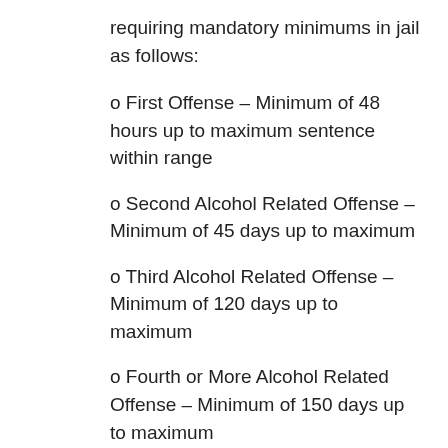requiring mandatory minimums in jail as follows:
o First Offense – Minimum of 48 hours up to maximum sentence within range
o Second Alcohol Related Offense – Minimum of 45 days up to maximum
o Third Alcohol Related Offense – Minimum of 120 days up to maximum
o Fourth or More Alcohol Related Offense – Minimum of 150 days up to maximum
• A fine of up to $5,000
• Depending on your whether you have prior